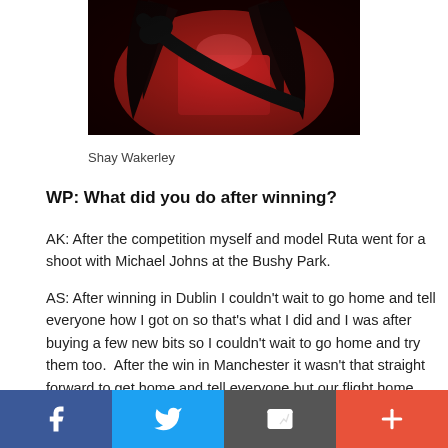[Figure (photo): Artwork/painting of a figure wearing red with dark hair and a dark spoon or brush-like object across their body, mostly in deep red and black tones.]
Shay Wakerley
WP: What did you do after winning?
AK: After the competition myself and model Ruta went for a shoot with Michael Johns at the Bushy Park.
AS: After winning in Dublin I couldn't wait to go home and tell everyone how I got on so that's what I did and I was after buying a few new bits so I couldn't wait to go home and try them too.  After the win in Manchester it wasn't that straight forward to get home and tell everyone but our flight home was not until 9:30pm so we went to Wetherspoons and did a bit of celebration shopping then struggled with our bags in the airport coming home.